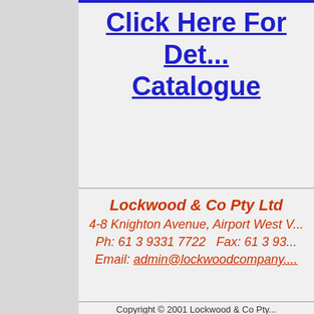Click Here For Det... Catalogue
Lockwood & Co Pty Ltd
4-8 Knighton Avenue, Airport West V...
Ph: 61 3 9331 7722   Fax: 61 3 93...
Email: admin@lockwoodcompany....
Copyright © 2001 Lockwood & Co Pty...